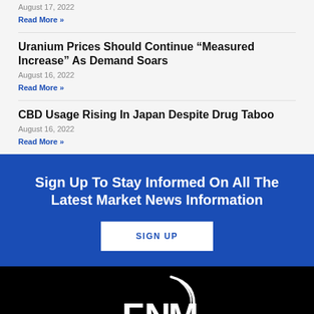August 17, 2022
Read More »
Uranium Prices Should Continue “Measured Increase” As Demand Soars
August 16, 2022
Read More »
CBD Usage Rising In Japan Despite Drug Taboo
August 16, 2022
Read More »
Sign Up To Stay Informed On All The Latest Market News Information
SIGN UP
[Figure (logo): FNM logo in white on black background]